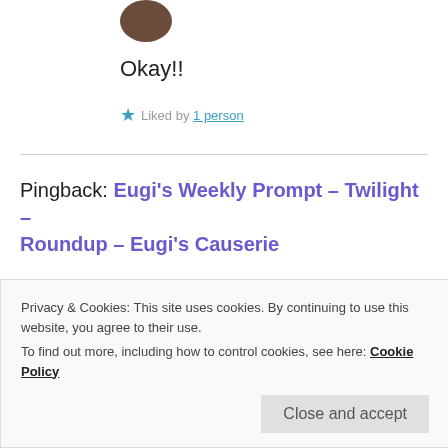[Figure (photo): Small circular avatar photo of a person, positioned at top center-left]
Okay!!
★ Liked by 1 person
Pingback: Eugi's Weekly Prompt – Twilight – Roundup – Eugi's Causerie
Privacy & Cookies: This site uses cookies. By continuing to use this website, you agree to their use.
To find out more, including how to control cookies, see here: Cookie Policy
Close and accept
July 8, 2021 at 7:45 am